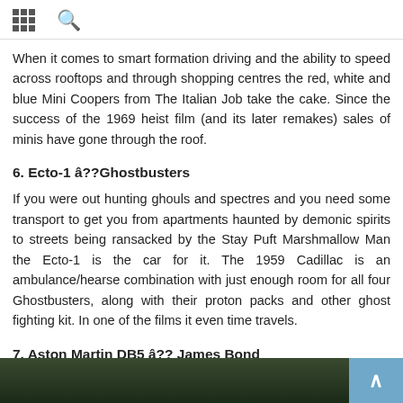[grid icon] [search icon]
When it comes to smart formation driving and the ability to speed across rooftops and through shopping centres the red, white and blue Mini Coopers from The Italian Job take the cake. Since the success of the 1969 heist film (and its later remakes) sales of minis have gone through the roof.
6. Ecto-1 â??Ghostbusters
If you were out hunting ghouls and spectres and you need some transport to get you from apartments haunted by demonic spirits to streets being ransacked by the Stay Puft Marshmallow Man the Ecto-1 is the car for it. The 1959 Cadillac is an ambulance/hearse combination with just enough room for all four Ghostbusters, along with their proton packs and other ghost fighting kit. In one of the films it even time travels.
7. Aston Martin DB5 â?? James Bond
[Figure (photo): Dark photo strip at bottom of page, appears to show a car or outdoor scene]